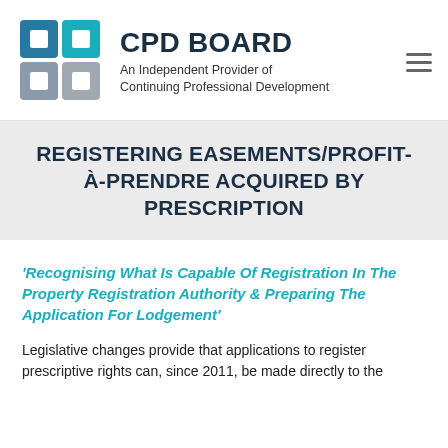[Figure (logo): CPD Board logo: two overlapping squares in teal/blue and grey, forming a stylized CB monogram]
CPD BOARD
An Independent Provider of Continuing Professional Development
REGISTERING EASEMENTS/PROFIT-À-PRENDRE ACQUIRED BY PRESCRIPTION
'Recognising What Is Capable Of Registration In The Property Registration Authority & Preparing The Application For Lodgement'
Legislative changes provide that applications to register prescriptive rights can, since 2011, be made directly to the